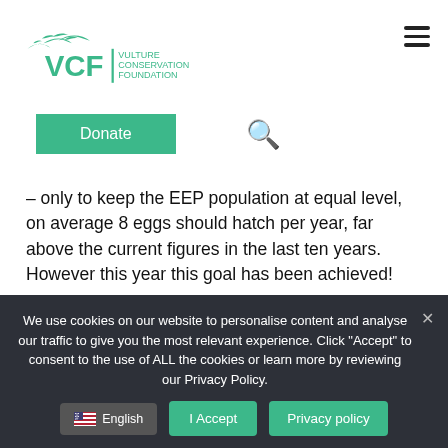VCF Vulture Conservation Foundation — Donate — Search
– only to keep the EEP population at equal level, on average 8 eggs should hatch per year, far above the current figures in the last ten years. However this year this goal has been achieved!
We use cookies on our website to personalise content and analyse our traffic to give you the most relevant experience. Click "Accept" to consent to the use of ALL the cookies or learn more by reviewing our Privacy Policy.